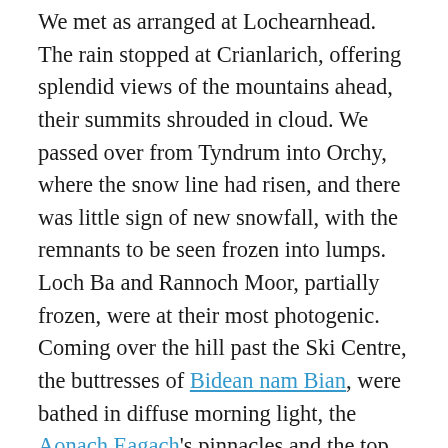We met as arranged at Lochearnhead. The rain stopped at Crianlarich, offering splendid views of the mountains ahead, their summits shrouded in cloud. We passed over from Tyndrum into Orchy, where the snow line had risen, and there was little sign of new snowfall, with the remnants to be seen frozen into lumps. Loch Ba and Rannoch Moor, partially frozen, were at their most photogenic. Coming over the hill past the Ski Centre, the buttresses of Bidean nam Bian, were bathed in diffuse morning light, the Aonach Eagach's pinnacles and the top of Buachaille Etive Mor were obscured by white clouds blown on a stiff easterly. Down in Ballachulish, sunlight could be seen. Much more promising than we had feared.